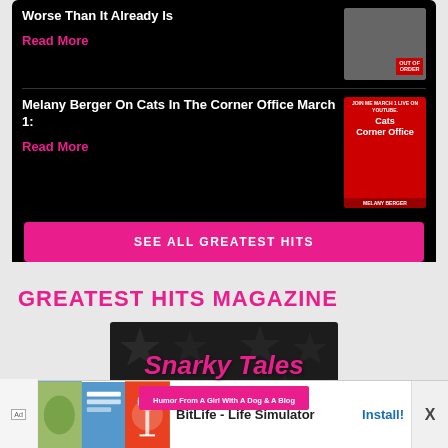Worse Than It Already Is
Read More
Melany Berger On Cats In The Corner Office March 1:
Read More
SEE ALL GREATEST HITS
GREATEST HITS MAGAZINE
[Figure (illustration): Snarky Tales - Humor From A Girl With A Dog & A Blog logo on dark geometric background with pink star shapes]
BitLife - Life Simulator
Install!